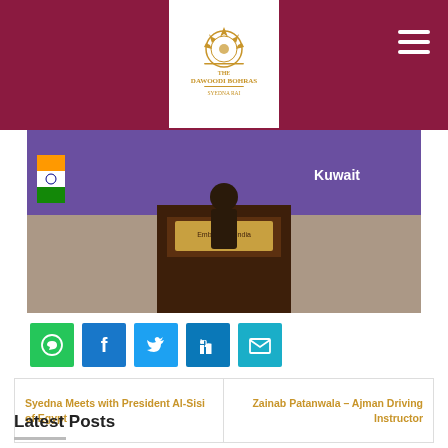The Dawoodi Bohras — site header with logo and navigation
[Figure (photo): Photo of a person at a podium labeled 'Embassy of India Kuwait' with an Indian flag visible and a purple banner reading 'Kuwait' in the background]
[Figure (infographic): Social sharing icons row: WhatsApp (green), Facebook (blue), Twitter (light blue), LinkedIn (dark blue), Email (teal)]
Syedna Meets with President Al-Sisi of Egypt
Zainab Patanwala – Ajman Driving Instructor
Latest Posts